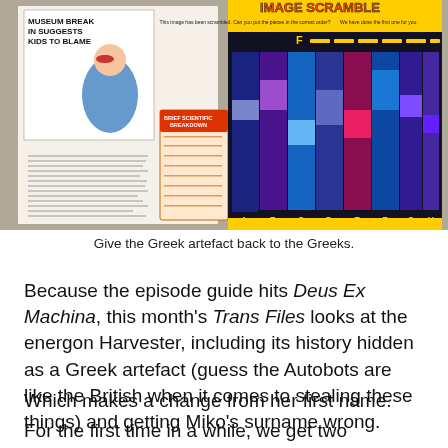[Figure (photo): A magazine spread showing a newspaper article with headline 'MUSEUM BREAK IN SUGGESTS KIDS TO BLAME' on the left side, a 'BRIEF SCIENTIFIC BREAKDOWN' form in the middle, and an 'IMAGE SCRAMBLE' puzzle on the right side featuring scrambled panels of an animated blue/purple robot character labeled A through H.]
Give the Greek artefact back to the Greeks.
Because the episode guide hits Deus Ex Machina, this month's Trans Files looks at the energon Harvester, including its history hidden as a Greek artefact (guess the Autobots are like the British when it comes to stealing these things) and getting Miko's surname wrong.
Which makes a change from her first name.
For the first time in a while, we get two competitions, both using Raf's code. The first for Bot Shots Battle Game!